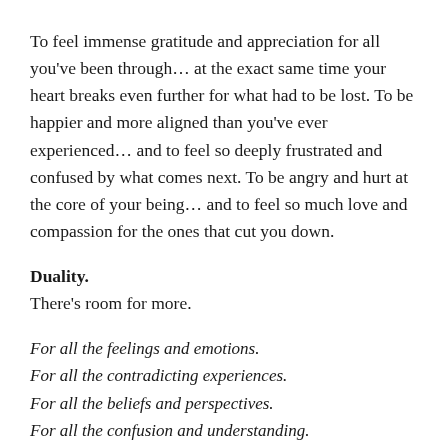To feel immense gratitude and appreciation for all you've been through… at the exact same time your heart breaks even further for what had to be lost. To be happier and more aligned than you've ever experienced… and to feel so deeply frustrated and confused by what comes next. To be angry and hurt at the core of your being… and to feel so much love and compassion for the ones that cut you down.
Duality.
There's room for more.
For all the feelings and emotions.
For all the contradicting experiences.
For all the beliefs and perspectives.
For all the confusion and understanding.
When we allow ourselves to be a walking